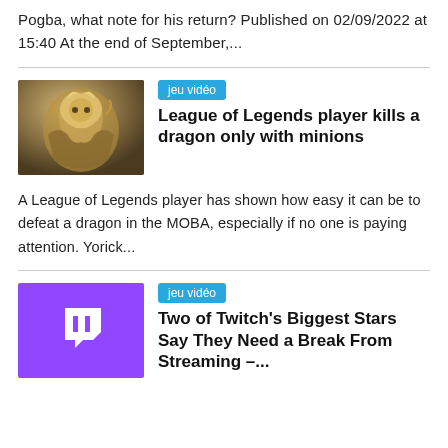Pogba, what note for his return? Published on 02/09/2022 at 15:40 At the end of September,...
[Figure (illustration): League of Legends fantasy character artwork showing a large muscular figure with golden/brown tones]
jeu vidéo
League of Legends player kills a dragon only with minions
A League of Legends player has shown how easy it can be to defeat a dragon in the MOBA, especially if no one is paying attention. Yorick...
[Figure (logo): Twitch logo - white controller icon on purple background]
jeu vidéo
Two of Twitch's Biggest Stars Say They Need a Break From Streaming –...